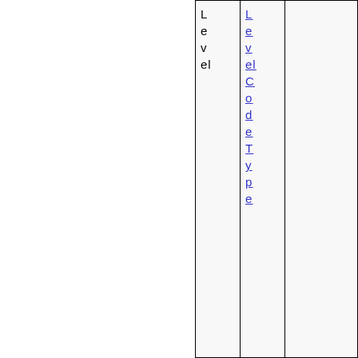| Level | LevelCodeType |  |
| --- | --- | --- |
|  |  |  |
|  |  |  |